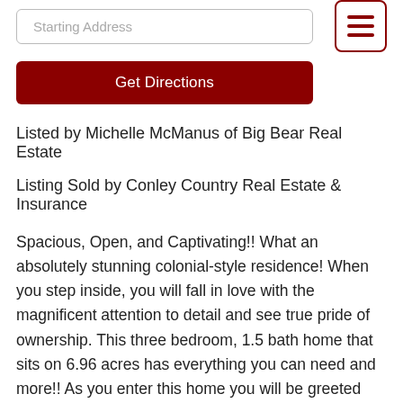Starting Address
Get Directions
Listed by Michelle McManus of Big Bear Real Estate
Listing Sold by Conley Country Real Estate & Insurance
Spacious, Open, and Captivating!! What an absolutely stunning colonial-style residence! When you step inside, you will fall in love with the magnificent attention to detail and see true pride of ownership. This three bedroom, 1.5 bath home that sits on 6.96 acres has everything you can need and more!! As you enter this home you will be greeted with an open concept Living-room and dining room accented perfectly with a soap stone Wood Burning Stove, and wall to wall tile flooring. The bright and sunny dining area has sliders that lead to a 20 x 14 Trek built Private Deck. Here, you'll enjoy beautiful views of Lake Memphremagog. Step into the